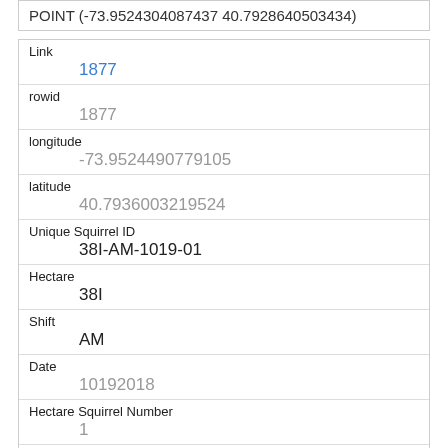POINT (-73.9524304087437 40.7928640503434)
| Field | Value |
| --- | --- |
| Link | 1877 |
| rowid | 1877 |
| longitude | -73.9524490779105 |
| latitude | 40.7936003219524 |
| Unique Squirrel ID | 38I-AM-1019-01 |
| Hectare | 38I |
| Shift | AM |
| Date | 10192018 |
| Hectare Squirrel Number | 1 |
| Age |  |